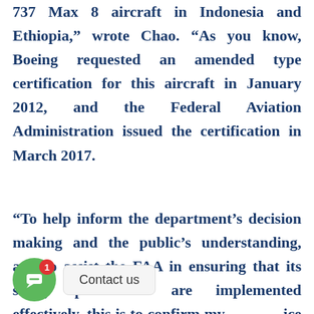737 Max 8 aircraft in Indonesia and Ethiopia," wrote Chao. “As you know, Boeing requested an amended type certification for this aircraft in January 2012, and the Federal Aviation Administration issued the certification in March 2017.
“To help inform the department’s decision making and the public’s understanding, and to assist the FAA in ensuring that its safety procedures are implemented effectively, this is to confirm my [request] [the Office] of Inspector General proceed with an audit to compile an objective and